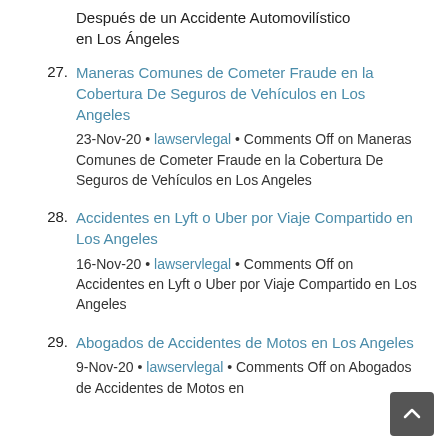(partial) Después de un Accidente Automovilístico en Los Ángeles
27. Maneras Comunes de Cometer Fraude en la Cobertura De Seguros de Vehículos en Los Angeles
23-Nov-20 • lawservlegal • Comments Off on Maneras Comunes de Cometer Fraude en la Cobertura De Seguros de Vehículos en Los Angeles
28. Accidentes en Lyft o Uber por Viaje Compartido en Los Angeles
16-Nov-20 • lawservlegal • Comments Off on Accidentes en Lyft o Uber por Viaje Compartido en Los Angeles
29. Abogados de Accidentes de Motos en Los Angeles
9-Nov-20 • lawservlegal • Comments Off on Abogados de Accidentes de Motos en